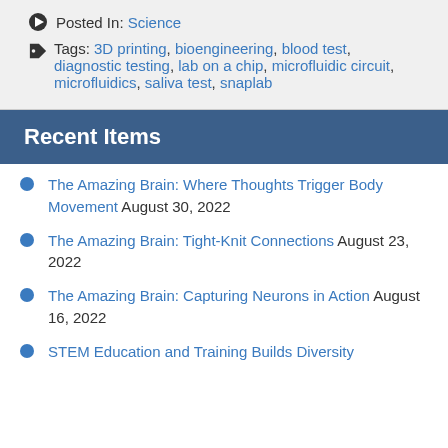Posted In: Science
Tags: 3D printing, bioengineering, blood test, diagnostic testing, lab on a chip, microfluidic circuit, microfluidics, saliva test, snaplab
Recent Items
The Amazing Brain: Where Thoughts Trigger Body Movement August 30, 2022
The Amazing Brain: Tight-Knit Connections August 23, 2022
The Amazing Brain: Capturing Neurons in Action August 16, 2022
STEM Education and Training Builds Diversity